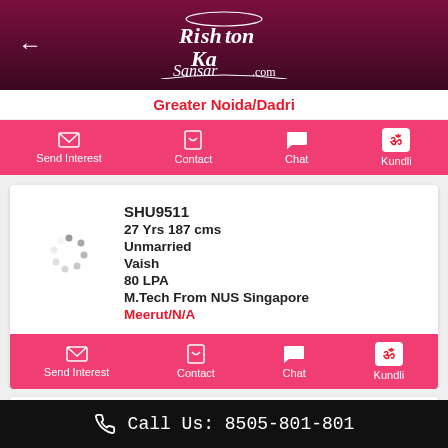RishtonKaSansar.com
Greater Noida/Dadri
Send Interest | Contact | Chat | Kundli
SHU9511
27 Yrs 187 cms
Unmarried
Vaish
80 LPA
M.Tech From NUS Singapore
Meerut/N/A
Send Interest | Contact | Chat | Kundli
DEE9170
30 Yrs 180 cms
Call Us: 8505-801-801